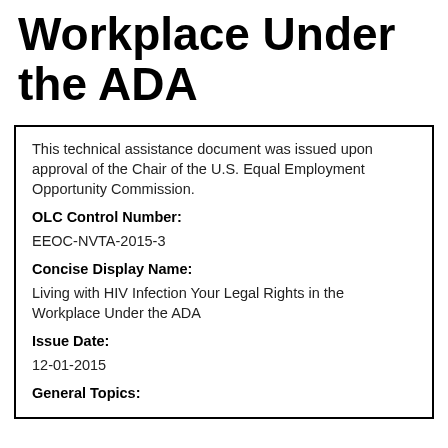Workplace Under the ADA
This technical assistance document was issued upon approval of the Chair of the U.S. Equal Employment Opportunity Commission.
OLC Control Number:
EEOC-NVTA-2015-3
Concise Display Name:
Living with HIV Infection Your Legal Rights in the Workplace Under the ADA
Issue Date:
12-01-2015
General Topics: